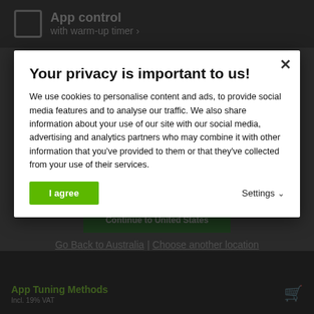[Figure (screenshot): Background website content showing a product page with app control and warm-up timer text, partially visible behind a cookie consent modal overlay.]
Your privacy is important to us!
We use cookies to personalise content and ads, to provide social media features and to analyse our traffic. We also share information about your use of our site with our social media, advertising and analytics partners who may combine it with other information that you’ve provided to them or that they’ve collected from your use of their services.
I agree
Settings
Go Back to Australia | Choose another location